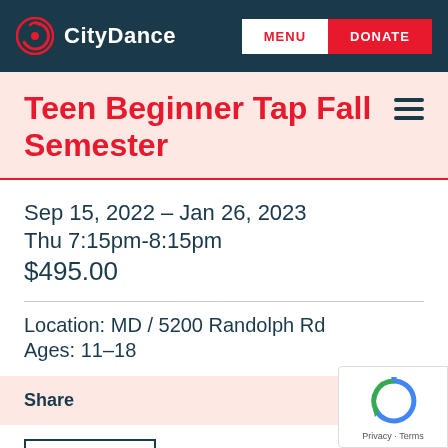CityDance | MENU | DONATE
Teen Beginner Tap Fall Semester
Sep 15, 2022 – Jan 26, 2023
Thu 7:15pm-8:15pm
$495.00
Location: MD / 5200 Randolph Rd
Ages: 11–18
Share
Register